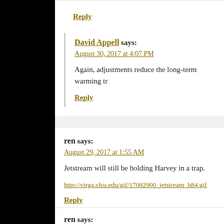Reply
David Appell says:
August 30, 2017 at 4:07 PM
Again, adjustments reduce the long-term warming tr
Reply
ren says:
August 29, 2017 at 1:55 AM
Jetstream will still be holding Harvey in a trap.
http://virga.sfsu.edu/gif/17082900_jetstream_h84.gif
Reply
ren says: